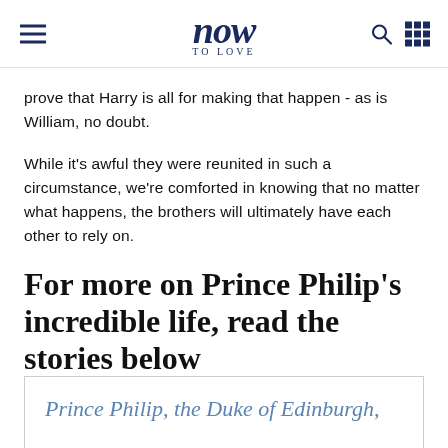now to love
prove that Harry is all for making that happen - as is William, no doubt.
While it's awful they were reunited in such a circumstance, we're comforted in knowing that no matter what happens, the brothers will ultimately have each other to rely on.
For more on Prince Philip's incredible life, read the stories below
Prince Philip, the Duke of Edinburgh,